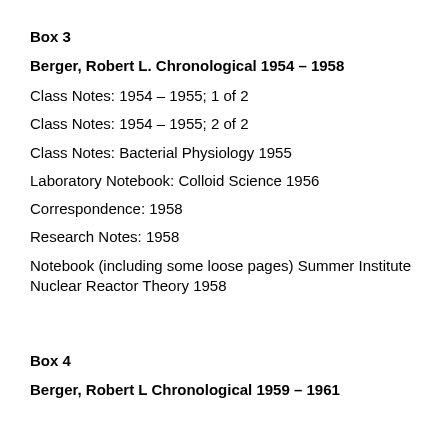Box 3
Berger, Robert L. Chronological 1954 – 1958
Class Notes: 1954 – 1955; 1 of 2
Class Notes: 1954 – 1955; 2 of 2
Class Notes: Bacterial Physiology 1955
Laboratory Notebook: Colloid Science 1956
Correspondence: 1958
Research Notes: 1958
Notebook (including some loose pages) Summer Institute Nuclear Reactor Theory 1958
Box 4
Berger, Robert L Chronological 1959 – 1961